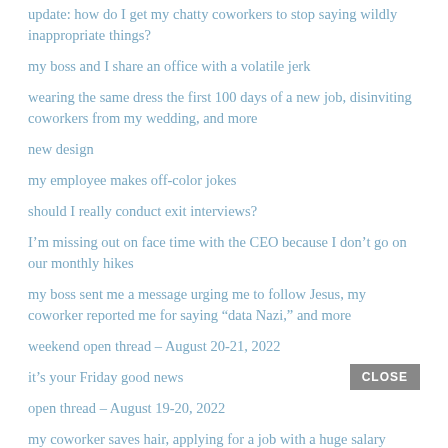update: how do I get my chatty coworkers to stop saying wildly inappropriate things?
my boss and I share an office with a volatile jerk
wearing the same dress the first 100 days of a new job, disinviting coworkers from my wedding, and more
new design
my employee makes off-color jokes
should I really conduct exit interviews?
I'm missing out on face time with the CEO because I don't go on our monthly hikes
my boss sent me a message urging me to follow Jesus, my coworker reported me for saying “data Nazi,” and more
weekend open thread – August 20-21, 2022
it’s your Friday good news
open thread – August 19-20, 2022
my coworker saves hair, applying for a job with a huge salary range, and more
should I be concerned that my two employees do all their work together?